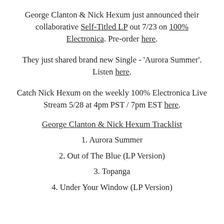George Clanton & Nick Hexum just announced their collaborative Self-Titled LP out 7/23 on 100% Electronica. Pre-order here.
They just shared brand new Single - 'Aurora Summer'. Listen here.
Catch Nick Hexum on the weekly 100% Electronica Live Stream 5/28 at 4pm PST / 7pm EST here.
George Clanton & Nick Hexum Tracklist
1. Aurora Summer
2. Out of The Blue (LP Version)
3. Topanga
4. Under Your Window (LP Version)